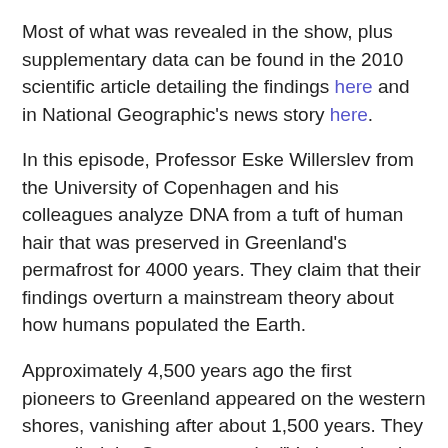Most of what was revealed in the show, plus supplementary data can be found in the 2010 scientific article detailing the findings here and in National Geographic's news story here.
In this episode, Professor Eske Willerslev from the University of Copenhagen and his colleagues analyze DNA from a tuft of human hair that was preserved in Greenland's permafrost for 4000 years. They claim that their findings overturn a mainstream theory about how humans populated the Earth.
Approximately 4,500 years ago the first pioneers to Greenland appeared on the western shores, vanishing after about 1,500 years. They are called the Saqqaq people. "Various theories have suggested that they were direct ancestors to the Inuit, or that they were actually Native Americans who penetrated into the High Arctic," Willerslev said. The accompanying article states, "The origin of the Saqqaq and other Palaeo-Eskimo cultures, and their relationship to present-day populations, has been debated since they were first discovered in the 1950s."
But Willerslev...